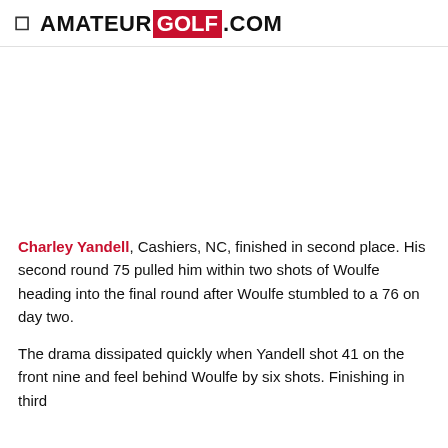AMATEUR GOLF .COM
[Figure (other): Advertisement or image placeholder area]
Charley Yandell, Cashiers, NC, finished in second place. His second round 75 pulled him within two shots of Woulfe heading into the final round after Woulfe stumbled to a 76 on day two.
The drama dissipated quickly when Yandell shot 41 on the front nine and feel behind Woulfe by six shots. Finishing in third